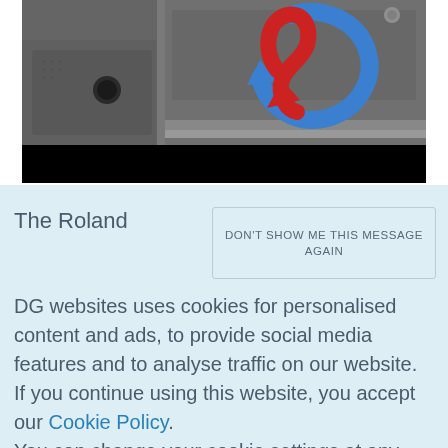[Figure (screenshot): Roland DG machine with red and blue 3D icon/logo overlay on dark gray industrial equipment surface, with black banner bar below]
The Roland DG websites uses cookies for personalised content and ads, to provide social media features and to analyse traffic on our website. If you continue using this website, you accept our Cookie Policy. You can change your cookie settings at any time.
DON'T SHOW ME THIS MESSAGE AGAIN